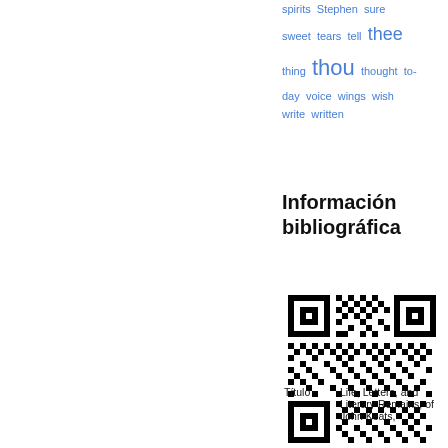spirits  Stephen  sure  sweet  tears  tell  thee  thing  thou  thought  to-day  voice  wings  wish  write  written
Información bibliográfica
[Figure (other): QR code for bibliographic information]
| Título | Life, Letters, and Literary Remains, of John Keats, |